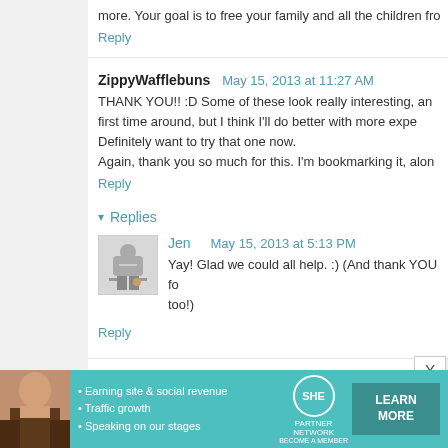more. Your goal is to free your family and all the children fro
Reply
ZippyWafflebuns  May 15, 2013 at 11:27 AM
THANK YOU!! :D Some of these look really interesting, an first time around, but I think I'll do better with more expe Definitely want to try that one now. Again, thank you so much for this. I'm bookmarking it, alon
Reply
▾  Replies
Jen    May 15, 2013 at 5:13 PM
Yay! Glad we could all help. :) (And thank YOU fo too!)
Reply
Anonymous  May 15, 2013 at 11:37 AM
[Figure (infographic): SHE Partner Network advertisement banner with photo of woman, bullet points about earning site & social revenue, traffic growth, speaking on stages, SHE logo, and LEARN MORE button]